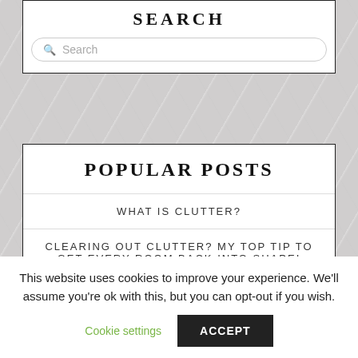SEARCH
Search
POPULAR POSTS
WHAT IS CLUTTER?
CLEARING OUT CLUTTER? MY TOP TIP TO GET EVERY ROOM BACK INTO SHAPE!
This website uses cookies to improve your experience. We'll assume you're ok with this, but you can opt-out if you wish.
Cookie settings
ACCEPT